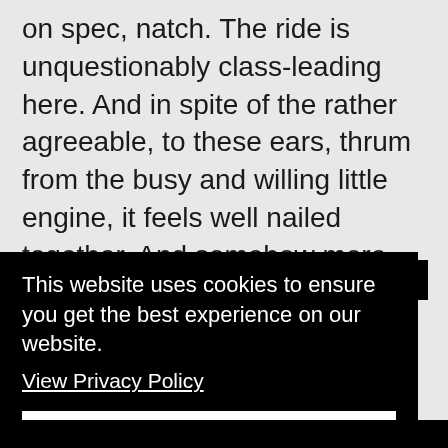on spec, natch. The ride is unquestionably class-leading here. And in spite of the rather agreeable, to these ears, thrum from the busy and willing little engine, it feels well nailed together. And somehow more expensive.
Pray God, this unpleasantness shall pass. Then you may think of buying a new car. Until then, stay well –
This website uses cookies to ensure you get the best experience on our website.
View Privacy Policy
Got it